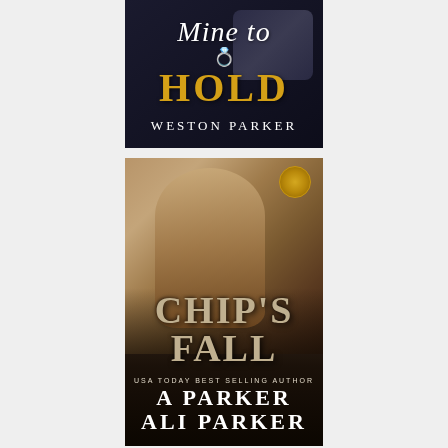[Figure (photo): Book cover for 'Mine to Hold' by Weston Parker. Dark background with white italic script title 'Mine to' at top, large gold bold text 'HOLD' in center with a diamond ring icon above it, and 'WESTON PARKER' in white uppercase letters at bottom.]
[Figure (photo): Book cover for 'Chip's Fall' by A Parker and Ali Parker. Features a shirtless tattooed male model wearing sunglasses leaning on a motorcycle. Stonework/distressed title text reads 'CHIP'S FALL' in large letters. Bottom reads 'USA TODAY BEST SELLING AUTHOR' followed by 'A PARKER' and 'ALI PARKER' in large white letters. A golden eagle emblem badge is visible in upper right corner.]